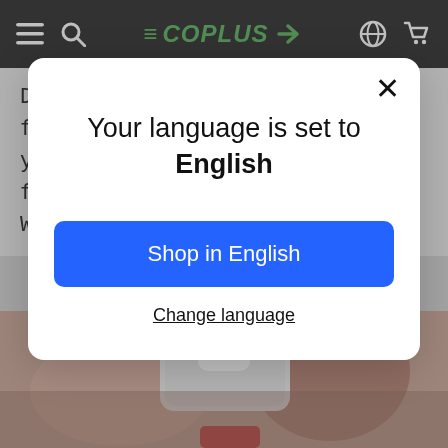ECOPLUS — navigation bar with hamburger menu, search, globe icon, and cart icon
Dear Lovers, are you looking for a gift That shows how much you care? We have a solution for you
Your language is set to English
Shop in English
Change language
[Figure (photo): Close-up photo of a person's hand/arm, partially visible, with a white rectangular object and a red element at the bottom]